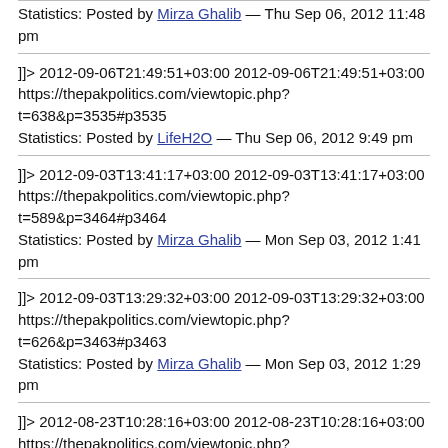Statistics: Posted by Mirza Ghalib — Thu Sep 06, 2012 11:48 pm
]]> 2012-09-06T21:49:51+03:00 2012-09-06T21:49:51+03:00 https://thepakpolitics.com/viewtopic.php?t=638&p=3535#p3535 Statistics: Posted by LifeH2O — Thu Sep 06, 2012 9:49 pm
]]> 2012-09-03T13:41:17+03:00 2012-09-03T13:41:17+03:00 https://thepakpolitics.com/viewtopic.php?t=589&p=3464#p3464 Statistics: Posted by Mirza Ghalib — Mon Sep 03, 2012 1:41 pm
]]> 2012-09-03T13:29:32+03:00 2012-09-03T13:29:32+03:00 https://thepakpolitics.com/viewtopic.php?t=626&p=3463#p3463 Statistics: Posted by Mirza Ghalib — Mon Sep 03, 2012 1:29 pm
]]> 2012-08-23T10:28:16+03:00 2012-08-23T10:28:16+03:00 https://thepakpolitics.com/viewtopic.php?t=589&p=3202#p3202 Asna Ali Thursday, August 23, 2012
Before social media became such a pervasive presence in our internet lives online browsing was – for the most part – an anonymous experience.
Users were wary of giving out their personal information and it